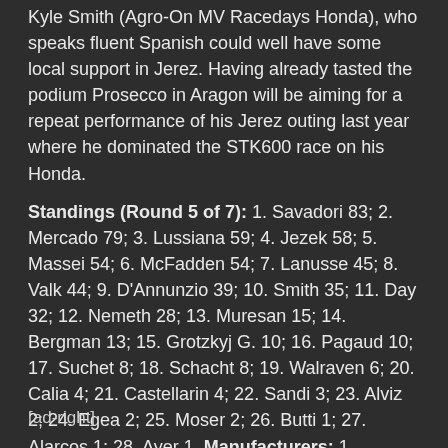Kyle Smith (Agro-On MV Racedays Honda), who speaks fluent Spanish could well have some local support in Jerez. Having already tasted the podium Prosecco in Aragon will be aiming for a repeat performance of his Jerez outing last year where he dominated the STK600 race on his Honda.
Standings (Round 5 of 7): 1. Savadori 83; 2. Mercado 79; 3. Lussiana 59; 4. Jezek 58; 5. Massei 54; 6. McFadden 54; 7. Lanusse 45; 8. Valk 44; 9. D'Annunzio 39; 10. Smith 35; 11. Day 32; 12. Nemeth 28; 13. Muresan 15; 14. Bergman 13; 15. Grotzkyj G. 10; 16. Pagaud 10; 17. Suchet 8; 18. Schacht 8; 19. Walraven 6; 20. Calia 4; 21. Castellarin 4; 22. Sandi 3; 23. Alviz 2; 24. Egea 2; 25. Moser 2; 26. Butti 1; 27. Alarcos 1; 28. Ayer 1. Manufacturers: 1. Kawasaki 108; 2. Ducati 100; 3. Honda 51; 4. BMW 40; 5. Suzuki 6; 6. Aprilia 4.
[ad-right]